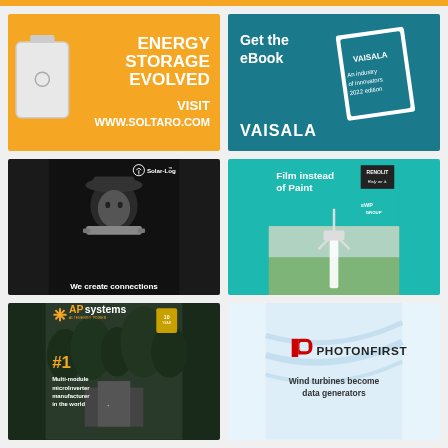[Figure (illustration): Soltaro energy storage advertisement - orange background with white battery unit. Text: ENERGY STORAGE EVOLVED VISIT WWW.SOLTARO.COM]
[Figure (illustration): Vaisala advertisement on teal background. Text: Get the eBook, VAISALA. Shows eBook cover: An industry of innovators 2022 edition]
[Figure (illustration): Solar-Log advertisement with dark background showing man in cowboy hat. Text: Solar-Log, We create connections]
[Figure (illustration): Renolit / WP Group advertisement on teal background. Text: Film instead of Paint, Rely on it. WP GROUP. Shows wind turbine photo below.]
[Figure (illustration): APsystems advertisement. Text: APsystems ALTENERGY POWER, #1 Multi-module microInverter manufacturer in the world]
[Figure (illustration): PhotonFirst advertisement with light blue background. Text: PHOTONFIRST, Wind turbines become data generators]